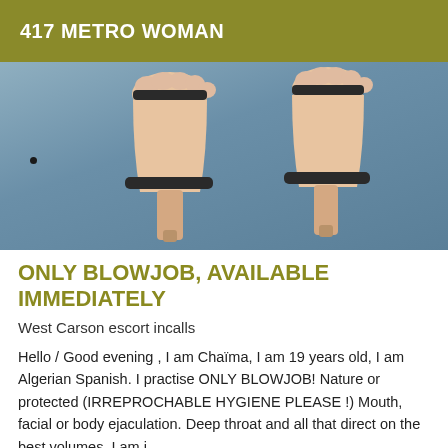417 METRO WOMAN
[Figure (photo): Close-up photo of two feet wearing beige/nude high-heel stiletto sandals with ankle straps, resting on a blue denim surface, viewed from above.]
ONLY BLOWJOB, AVAILABLE IMMEDIATELY
West Carson escort incalls
Hello / Good evening , I am Chaïma, I am 19 years old, I am Algerian Spanish. I practise ONLY BLOWJOB! Nature or protected (IRREPROCHABLE HYGIENE PLEASE !) Mouth, facial or body ejaculation. Deep throat and all that direct on the best volumes. I am i